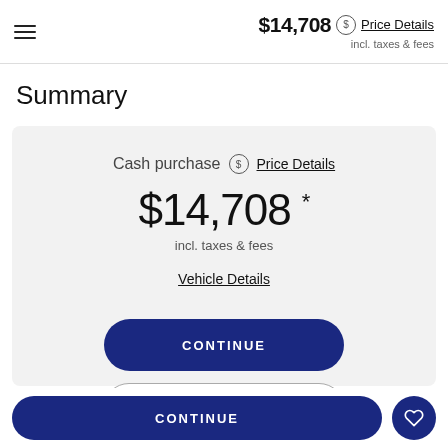$14,708 Price Details incl. taxes & fees
Summary
Cash purchase Price Details $14,708 * incl. taxes & fees Vehicle Details
CONTINUE
TEST DRIVE
CONTINUE